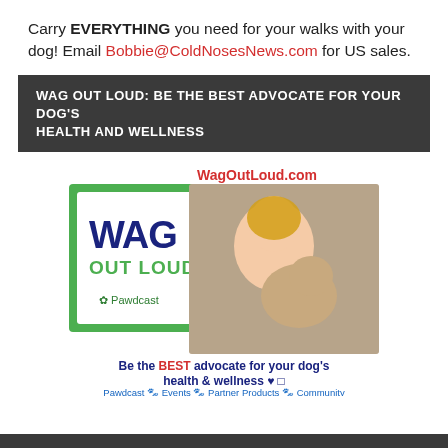Carry EVERYTHING you need for your walks with your dog! Email Bobbie@ColdNosesNews.com for US sales.
WAG OUT LOUD: BE THE BEST ADVOCATE FOR YOUR DOG'S HEALTH AND WELLNESS
[Figure (illustration): Wag Out Loud Pawdcast advertisement image showing logo with green border and WAG OUT LOUD text in blue and green, with a photo of a smiling woman with a terrier dog, WagOutLoud.com in red text, tagline 'Be the BEST advocate for your dog health & wellness', and navigation links: Pawdcast, Events, Partner Products, Community]